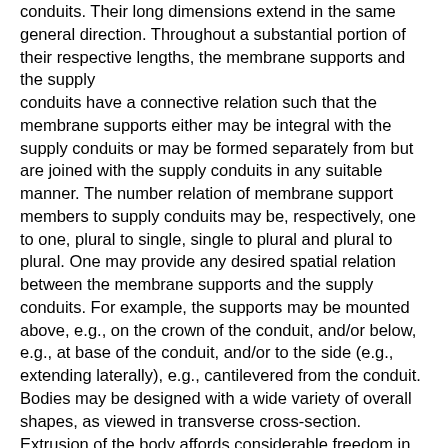conduits. Their long dimensions extend in the same general direction. Throughout a substantial portion of their respective lengths, the membrane supports and the supply conduits have a connective relation such that the membrane supports either may be integral with the supply conduits or may be formed separately from but are joined with the supply conduits in any suitable manner. The number relation of membrane support members to supply conduits may be, respectively, one to one, plural to single, single to plural and plural to plural. One may provide any desired spatial relation between the membrane supports and the supply conduits. For example, the supports may be mounted above, e.g., on the crown of the conduit, and/or below, e.g., at base of the conduit, and/or to the side (e.g., extending laterally), e.g., cantilevered from the conduit. Bodies may be designed with a wide variety of overall shapes, as viewed in transverse cross-section. Extrusion of the body affords considerable freedom in selecting cross-sections. Preferably, a single membrane support member is arranged symmetrically relative to the central axis of, and above, an integral gas supply